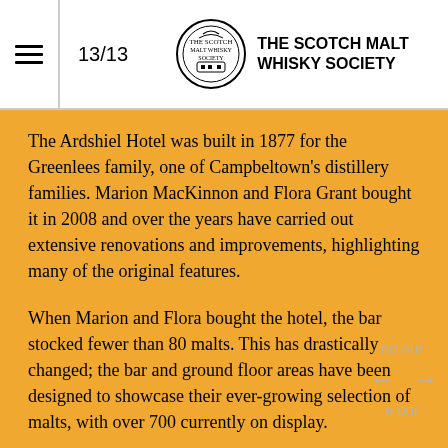13/13  THE SCOTCH MALT WHISKY SOCIETY
The Ardshiel Hotel was built in 1877 for the Greenlees family, one of Campbeltown's distillery families. Marion MacKinnon and Flora Grant bought it in 2008 and over the years have carried out extensive renovations and improvements, highlighting many of the original features.
When Marion and Flora bought the hotel, the bar stocked fewer than 80 malts. This has drastically changed; the bar and ground floor areas have been designed to showcase their ever-growing selection of malts, with over 700 currently on display.
“We noticed that there were few bars or hotels in the area that had a strong whisky connection and we wanted to expand our collection to attract both locals and tourists and to share our passion by providing the world’s best whiskies,” says Flora.
Some of the drams offer the last chance to taste whisky from a